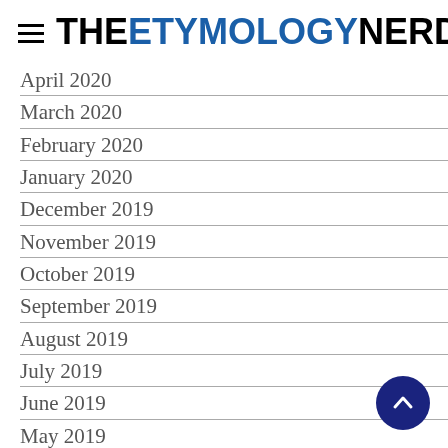THE ETYMOLOGY NERD
April 2020
March 2020
February 2020
January 2020
December 2019
November 2019
October 2019
September 2019
August 2019
July 2019
June 2019
May 2019
April 2019
March 2019
February 2019
January 2019
December 2018